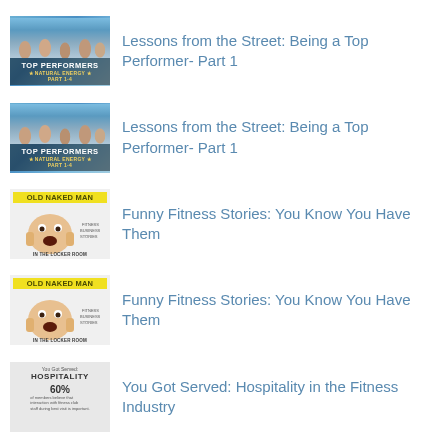Lessons from the Street: Being a Top Performer- Part 1
Lessons from the Street: Being a Top Performer- Part 1
Funny Fitness Stories: You Know You Have Them
Funny Fitness Stories: You Know You Have Them
You Got Served: Hospitality in the Fitness Industry